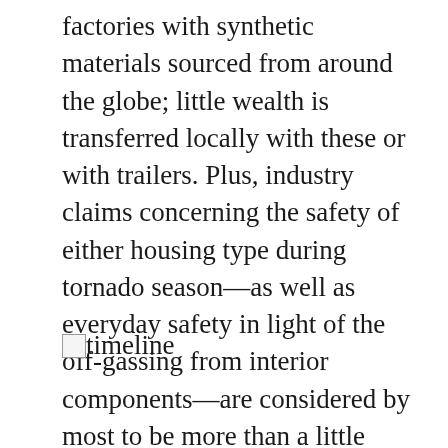factories with synthetic materials sourced from around the globe; little wealth is transferred locally with these or with trailers. Plus, industry claims concerning the safety of either housing type during tornado season—as well as everyday safety in light of the off-gassing from interior components—are considered by most to be more than a little dubious.
[Figure (other): Broken image placeholder with alt text 'timeline']